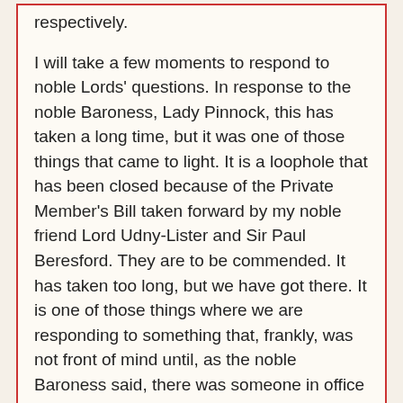respectively.
I will take a few moments to respond to noble Lords' questions. In response to the noble Baroness, Lady Pinnock, this has taken a long time, but it was one of those things that came to light. It is a loophole that has been closed because of the Private Member's Bill taken forward by my noble friend Lord Udny-Lister and Sir Paul Beresford. They are to be commended. It has taken too long, but we have got there. It is one of those things where we are responding to something that, frankly, was not front of mind until, as the noble Baroness said, there was someone in office who chose not to stand down when this became apparent.
The noble Lord, Lord Khan, wanted to know about independence. My view, but this is not—